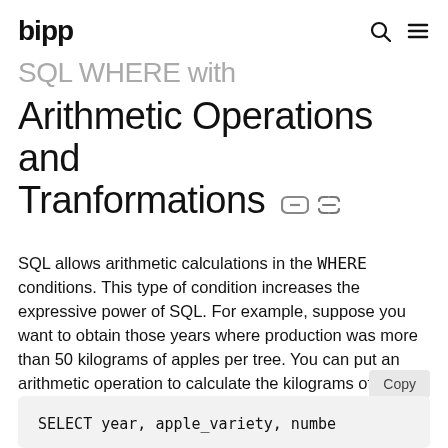bipp
SQL WHERE with Arithmetic Operations and Tranformations
SQL allows arithmetic calculations in the WHERE conditions. This type of condition increases the expressive power of SQL. For example, suppose you want to obtain those years where production was more than 50 kilograms of apples per tree. You can put an arithmetic operation to calculate the kilograms of apples produced per tree:
Copy
SELECT year, apple_variety, numbe